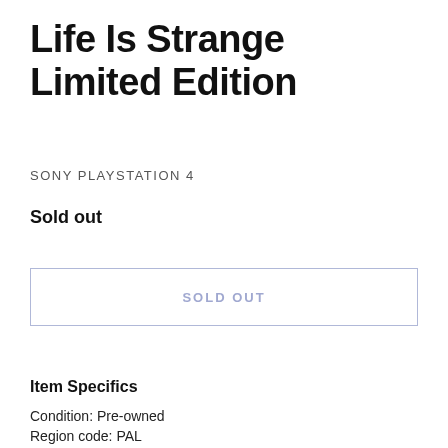Life Is Strange Limited Edition
SONY PLAYSTATION 4
Sold out
SOLD OUT
Item Specifics
Condition: Pre-owned
Region code: PAL